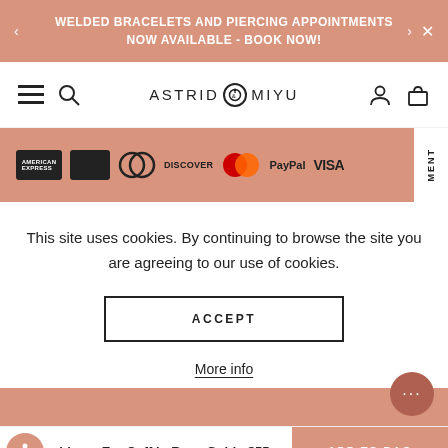WELDED BRACELETS AND PIERCING APPOINTMENTS NOW AVAILABLE - BOOK NOW!
[Figure (screenshot): Astrid & Miyu navigation bar with hamburger menu, search icon, logo, user icon, and bag icon]
[Figure (screenshot): Payment methods section showing American Express, Visa, Mastercard, Discover, PayPal, VISA logos on salmon/pink background]
This site uses cookies. By continuing to browse the site you are agreeing to our use of cookies.
ACCEPT
More info
shbone Ear Cuff in Rose Gold - $55  ADD TO BAG